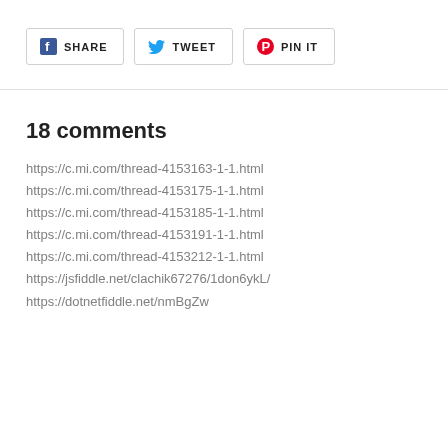[Figure (other): Social share buttons: Facebook SHARE, Twitter TWEET, Pinterest PIN IT]
18 comments
https://c.mi.com/thread-4153163-1-1.html
https://c.mi.com/thread-4153175-1-1.html
https://c.mi.com/thread-4153185-1-1.html
https://c.mi.com/thread-4153191-1-1.html
https://c.mi.com/thread-4153212-1-1.html
https://jsfiddle.net/clachik67276/1don6ykL/
https://dotnetfiddle.net/nmBgZw